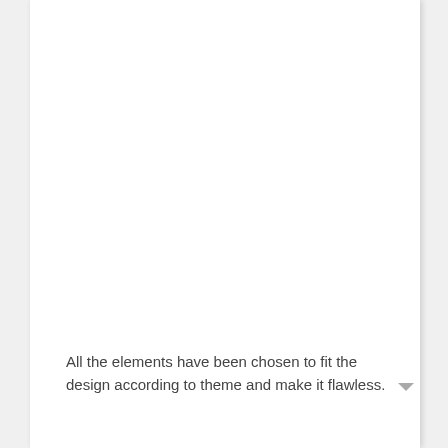All the elements have been chosen to fit the design according to theme and make it flawless.